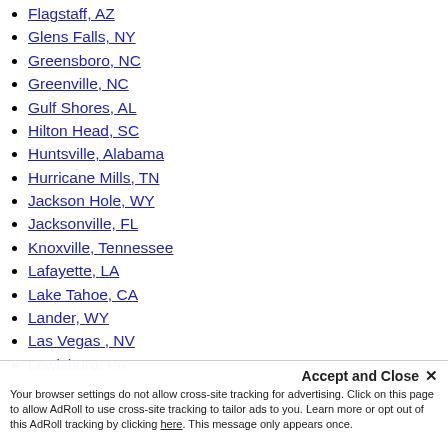Flagstaff, AZ
Glens Falls, NY
Greensboro, NC
Greenville, NC
Gulf Shores, AL
Hilton Head, SC
Huntsville, Alabama
Hurricane Mills, TN
Jackson Hole, WY
Jacksonville, FL
Knoxville, Tennessee
Lafayette, LA
Lake Tahoe, CA
Lander, WY
Las Vegas , NV
Lewisburg, PA
Lexington, KY
Los Angeles, California
Madison, WI
Memphis, TN
Miami, FL
Minneapolis, MN
Your browser settings do not allow cross-site tracking for advertising. Click on this page to allow AdRoll to use cross-site tracking to tailor ads to you. Learn more or opt out of this AdRoll tracking by clicking here. This message only appears once.